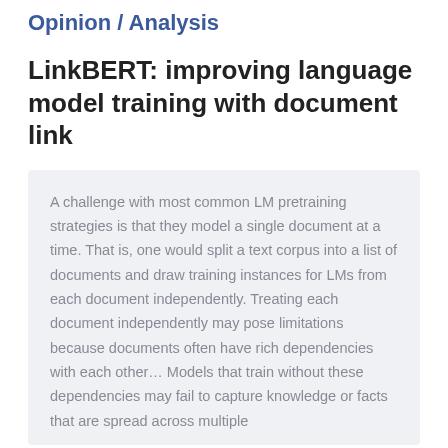Opinion / Analysis
LinkBERT: improving language model training with document link
A challenge with most common LM pretraining strategies is that they model a single document at a time. That is, one would split a text corpus into a list of documents and draw training instances for LMs from each document independently. Treating each document independently may pose limitations because documents often have rich dependencies with each other... Models that train without these dependencies may fail to capture knowledge or facts that are spread across multiple